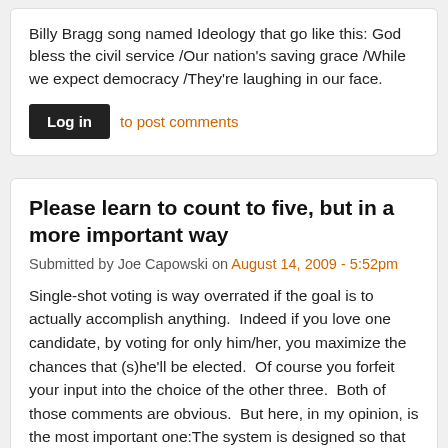Billy Bragg song named Ideology that go like this: God bless the civil service /Our nation's saving grace /While we expect democracy /They're laughing in our face.
Log in to post comments
Please learn to count to five, but in a more important way
Submitted by Joe Capowski on August 14, 2009 - 5:52pm
Single-shot voting is way overrated if the goal is to actually accomplish anything.  Indeed if you love one candidate, by voting for only him/her, you maximize the chances that (s)he'll be elected.  Of course you forfeit your input into the choice of the other three.  Both of those comments are obvious.  But here, in my opinion, is the most important one:The system is designed so that no one person is that powerful.  It takes five votes for the CH council to take any action.  It does no good to elect your perfect councilmember  who is at the losing end of a lot of 8-1 votes.  It is actually harmful, for soon he/she is